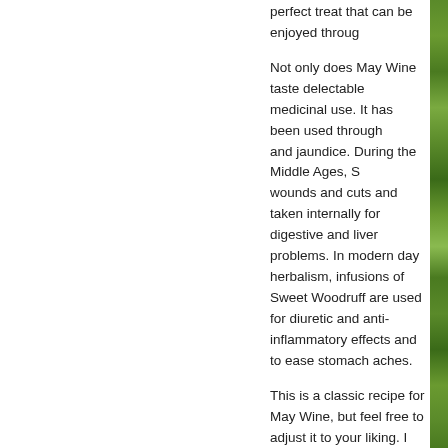perfect treat that can be enjoyed through...
Not only does May Wine taste delectable, it also has a long history of medicinal use. It has been used throughout the ages to treat liver complaints and jaundice. During the Middle Ages, Sweet Woodruff was applied to wounds and cuts and taken internally for digestive and liver problems. In modern day herbalism, infusions of Sweet Woodruff are used for diuretic and anti-inflammatory effects and to ease stomach aches.
This is a classic recipe for May Wine, but feel free to adjust it to your liking. I am already envisioning Chamomile flowers, Rose petals, and Lemon Balm incorporated into future batches! Simply follow the recipe below but substitute the herb(s) of your choice for Sweet Woodruff, and make allowances for herbs that are especially who is from Germany, makes May Wine peaches or seasonal fruit when Strawbe sparkling water instead of the champagn beverage.
Ingredients:
1 bottle organic white wine
[Figure (photo): A narrow vertical strip of green plant/herb foliage visible on the right edge of the page]